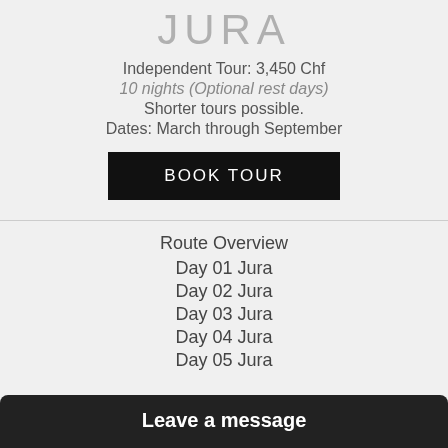JURA
Independent Tour: 3,450 Chf
10 nights (Optional rest days)
Shorter tours possible.
Dates: March through September
BOOK TOUR
Route Overview
Day 01 Jura
Day 02 Jura
Day 03 Jura
Day 04 Jura
Day 05 Jura
Leave a message